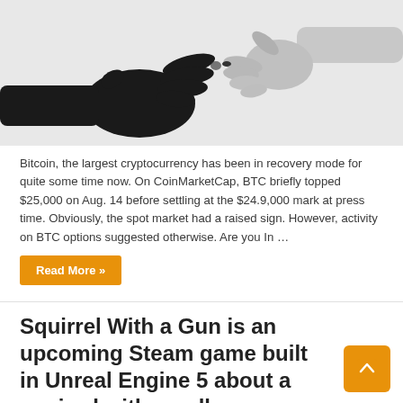[Figure (photo): Black and white photo of two hands reaching toward each other touching fingertips — one dark-skinned hand on the left and one light-skinned hand on the right against a white background]
Bitcoin, the largest cryptocurrency has been in recovery mode for quite some time now. On CoinMarketCap, BTC briefly topped $25,000 on Aug. 14 before settling at the $24.9,000 mark at press time. Obviously, the spot market had a raised sign. However, activity on BTC options suggested otherwise. Are you In …
Read More »
Squirrel With a Gun is an upcoming Steam game built in Unreal Engine 5 about a squirrel with…well…a gun
August 15, 2022   Normal Good   Comments Off